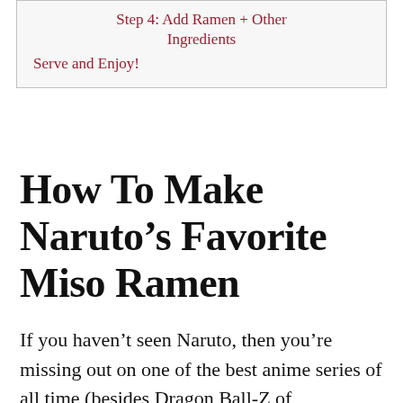Step 4: Add Ramen + Other Ingredients
Serve and Enjoy!
How To Make Naruto’s Favorite Miso Ramen
If you haven’t seen Naruto, then you’re missing out on one of the best anime series of all time (besides Dragon Ball-Z of